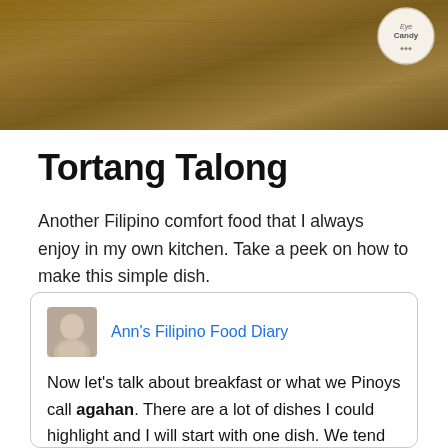[Figure (photo): Hero image showing a wooden surface texture background, with a circular logo watermark in the top right corner reading 'Eye Candy']
Tortang Talong
Another Filipino comfort food that I always enjoy in my own kitchen. Take a peek on how to make this simple dish.
Ann's Filipino Food Diary
Now let's talk about breakfast or what we Pinoys call agahan. There are a lot of dishes I could highlight and I will start with one dish. We tend to like the start to our mornings with something hearty and filling, more salty than sweet. One of my most favourite is what we call Tortang Talong or simply eggplant omelette. It's pretty simple really, just three